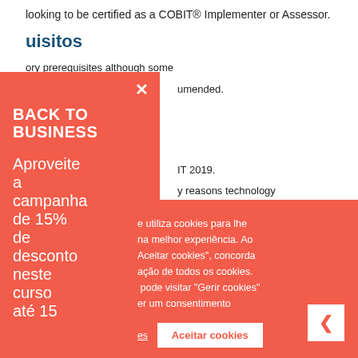looking to be certified as a COBIT® Implementer or Assessor.
uisitos
ory prerequisites although some
umended.
[Figure (other): Red promotional sidebar with close button (×), 'BACK TO BUSINESS' heading, and promotional text 'Aproveite a campanha de 15% de desconto neste curso até 15']
[Figure (other): Cookie consent popup overlay in red with text about cookies, 'Aceitar cookies' button, and 'Gerir cookies' link]
IT 2019.
y reasons technology
ses of the
er applicable knowledge.
nce "system"